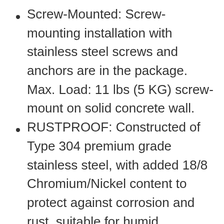Screw-Mounted: Screw-mounting installation with stainless steel screws and anchors are in the package. Max. Load: 11 lbs (5 KG) screw-mount on solid concrete wall.
RUSTPROOF: Constructed of Type 304 premium grade stainless steel, with added 18/8 Chromium/Nickel content to protect against corrosion and rust, suitable for humid environments such as bathroom and kitchen.
DIMENSIONS: Overall length is 23.6" (600mm). The length of